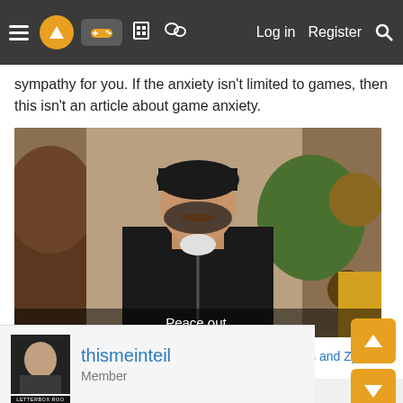≡ [logo] [controller] [building] [chat] Log in Register [search]
sympathy for you. If the anxiety isn't limited to games, then this isn't an article about game anxiety.
[Figure (photo): Movie still showing a man with a black cap and jacket with subtitle text 'Peace out.']
Peace out.
👍 jaysius and ZywyPL
thismeinteil
Member